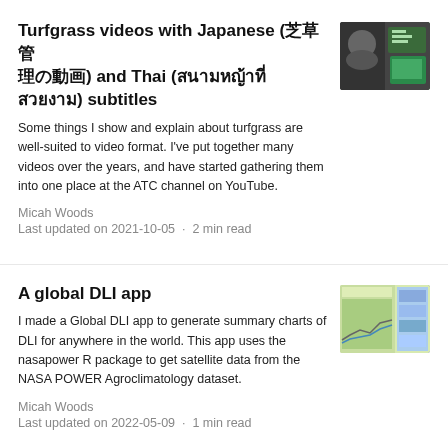Turfgrass videos with Japanese (芝草管理の動画) and Thai (สนามหญ้า) subtitles
Some things I show and explain about turfgrass are well-suited to video format. I've put together many videos over the years, and have started gathering them into one place at the ATC channel on YouTube.
Micah Woods
Last updated on 2021-10-05  ·  2 min read
[Figure (photo): Thumbnail image showing a man and a document/slide screenshot]
A global DLI app
I made a Global DLI app to generate summary charts of DLI for anywhere in the world. This app uses the nasapower R package to get satellite data from the NASA POWER Agroclimatology dataset.
Micah Woods
Last updated on 2022-05-09  ·  1 min read
[Figure (screenshot): Thumbnail image showing a DLI chart/map application screenshot]